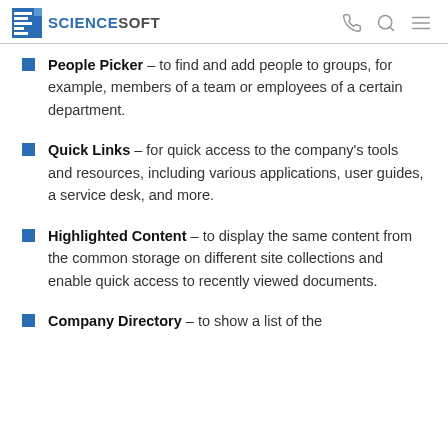ScienceSoft
People Picker – to find and add people to groups, for example, members of a team or employees of a certain department.
Quick Links – for quick access to the company's tools and resources, including various applications, user guides, a service desk, and more.
Highlighted Content – to display the same content from the common storage on different site collections and enable quick access to recently viewed documents.
Company Directory – to show a list of the